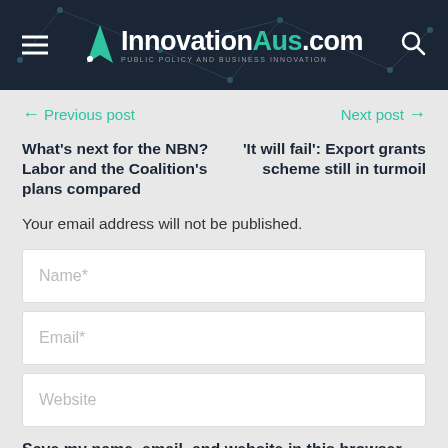[Figure (logo): InnovationAus.com website header with hamburger menu, teal/white logo and search icon on dark navy background with network graphic overlay]
← Previous post
Next post →
What's next for the NBN? Labor and the Coalition's plans compared
'It will fail': Export grants scheme still in turmoil
Your email address will not be published.
Name*
Email*
Website
Save my name, email, and website in this browser for the